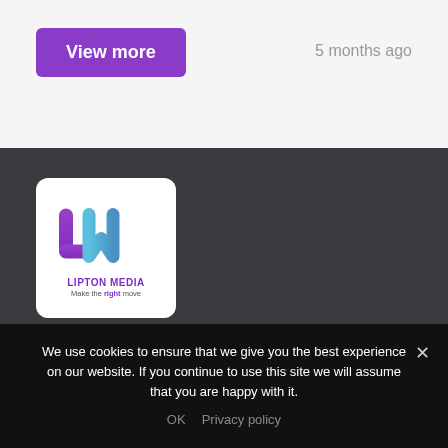View more
5 months ago
[Figure (logo): Lipton Media logo: LM monogram in purple and blue gradient, with text LIPTON MEDIA and tagline Make the right move]
We use cookies to ensure that we give you the best experience on our website. If you continue to use this site we will assume that you are happy with it.
OK   Privacy policy